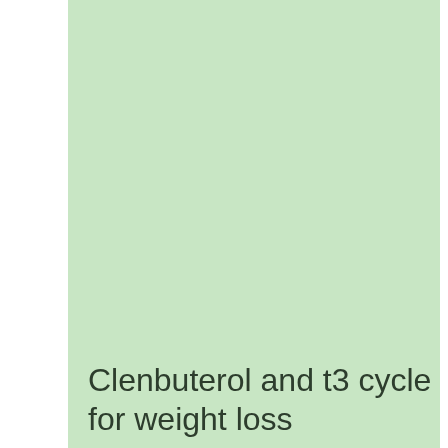[Figure (illustration): Large light green rectangular background block occupying the right portion of the page]
Clenbuterol and t3 cycle for weight loss